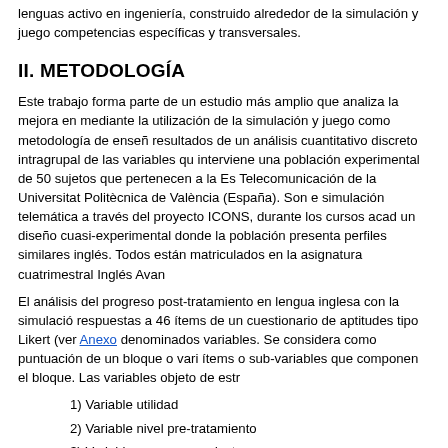lenguas activo en ingeniería, construido alrededor de la simulación y juego competencias específicas y transversales.
II. METODOLOGÍA
Este trabajo forma parte de un estudio más amplio que analiza la mejora en mediante la utilización de la simulación y juego como metodología de enseñ resultados de un análisis cuantitativo discreto intragrupal de las variables qu interviene una población experimental de 50 sujetos que pertenecen a la Es Telecomunicación de la Universitat Politècnica de València (España). Son e simulación telemática a través del proyecto ICONS, durante los cursos acad un diseño cuasi-experimental donde la población presenta perfiles similares inglés. Todos están matriculados en la asignatura cuatrimestral Inglés Avan
El análisis del progreso post-tratamiento en lengua inglesa con la simulació respuestas a 46 ítems de un cuestionario de aptitudes tipo Likert (ver Anexo denominados variables. Se considera como puntuación de un bloque o vari ítems o sub-variables que componen el bloque. Las variables objeto de estr
1) Variable utilidad
2) Variable nivel pre-tratamiento
3) Variable progreso en destrezas
4) Variable factores que influyen en el progreso
5) Variable contribución de las partes de la simulación telemática